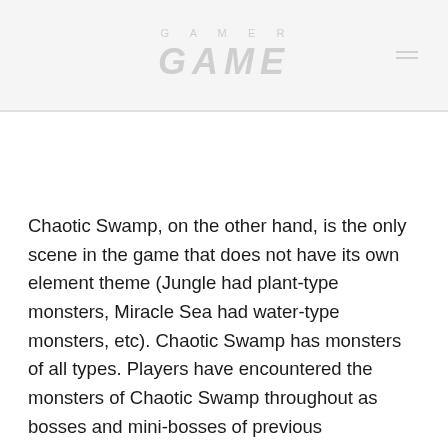GAME
Chaotic Swamp, on the other hand, is the only scene in the game that does not have its own element theme (Jungle had plant-type monsters, Miracle Sea had water-type monsters, etc). Chaotic Swamp has monsters of all types. Players have encountered the monsters of Chaotic Swamp throughout as bosses and mini-bosses of previous challenges. This gives Chaotic Swamp a sense of familiarity for players as they journey through the most challenging scene of all. Only the strongest can beat the scene, and the